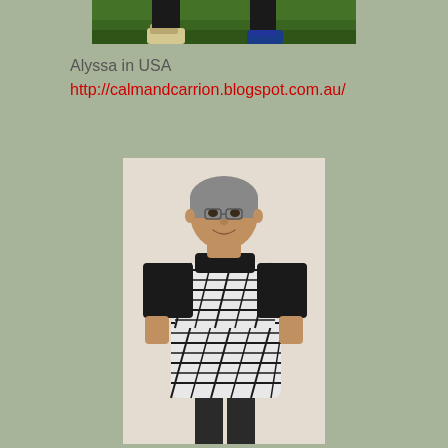[Figure (photo): Partial photo at top showing legs/feet on grass background, cropped]
Alyssa in USA
http://calmandcarrion.blogspot.com.au/
[Figure (photo): Photo of an older Asian woman with short grey hair and glasses, wearing a black t-shirt under a black and white geometric patterned sleeveless dress, standing and smiling]